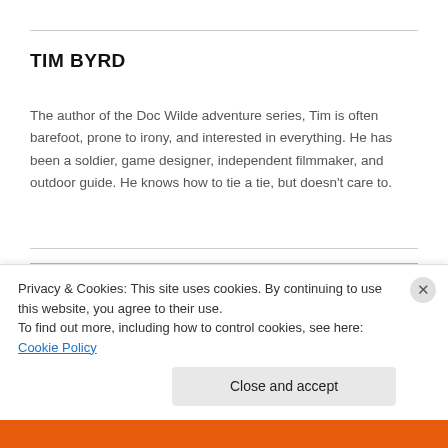TIM BYRD
The author of the Doc Wilde adventure series, Tim is often barefoot, prone to irony, and interested in everything. He has been a soldier, game designer, independent filmmaker, and outdoor guide. He knows how to tie a tie, but doesn't care to.
[Figure (illustration): Doc Wilde book panel with quote: 'Daring adventure! Dastardly villains! Climactic cliffhangers!' Booklist, and the Doc Wilde logo in large orange and red stylized lettering with a TM mark.]
Privacy & Cookies: This site uses cookies. By continuing to use this website, you agree to their use.
To find out more, including how to control cookies, see here: Cookie Policy